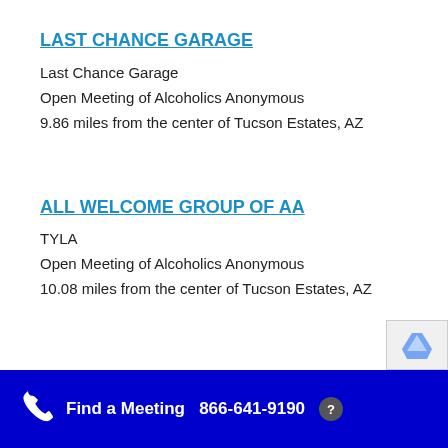LAST CHANCE GARAGE
Last Chance Garage
Open Meeting of Alcoholics Anonymous
9.86 miles from the center of Tucson Estates, AZ
ALL WELCOME GROUP OF AA
TYLA
Open Meeting of Alcoholics Anonymous
10.08 miles from the center of Tucson Estates, AZ
Find a Meeting  866-641-9190